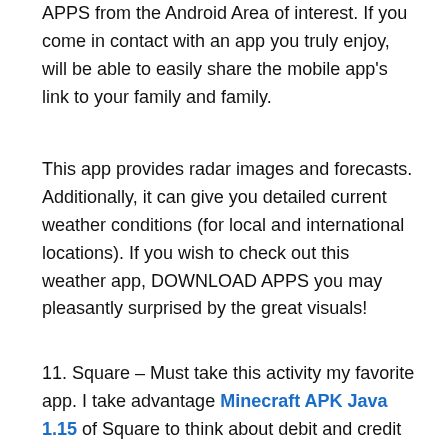APPS from the Android Area of interest. If you come in contact with an app you truly enjoy, will be able to easily share the mobile app's link to your family and family.
This app provides radar images and forecasts. Additionally, it can give you detailed current weather conditions (for local and international locations). If you wish to check out this weather app, DOWNLOAD APPS you may pleasantly surprised by the great visuals!
11. Square – Must take this activity my favorite app. I take advantage Minecraft APK Java 1.15 of Square to think about debit and credit card payments. This is often a great resource for